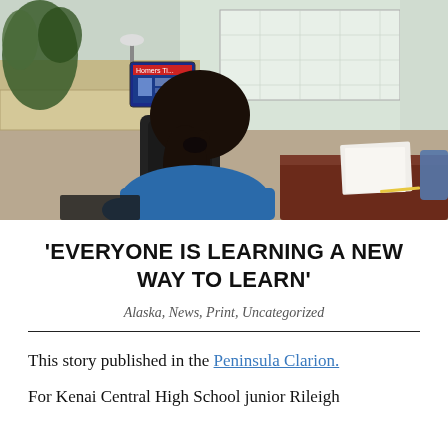[Figure (photo): A student with dark hair sitting at a computer desk in a classroom, viewed from behind, working on a computer. The classroom has a whiteboard, plants, and other furniture in the background.]
'EVERYONE IS LEARNING A NEW WAY TO LEARN'
Alaska, News, Print, Uncategorized
This story published in the Peninsula Clarion.
For Kenai Central High School junior Rileigh